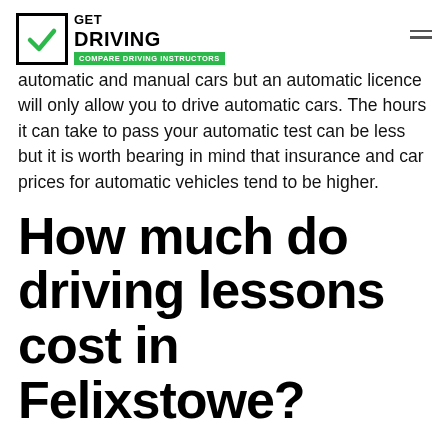GET DRIVING — COMPARE DRIVING INSTRUCTORS
automatic and manual cars but an automatic licence will only allow you to drive automatic cars. The hours it can take to pass your automatic test can be less but it is worth bearing in mind that insurance and car prices for automatic vehicles tend to be higher.
How much do driving lessons cost in Felixstowe?
The average cost for driving lessons in Felixstowe is £24. If it takes you 40 hours to learn to drive this will be at a cost of £960.